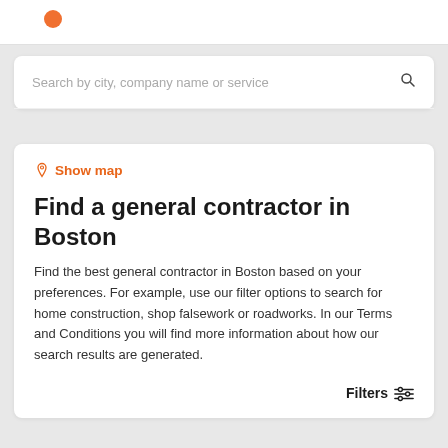[Figure (logo): Orange circle dot logo in top header bar]
Search by city, company name or service
Show map
Find a general contractor in Boston
Find the best general contractor in Boston based on your preferences. For example, use our filter options to search for home construction, shop falsework or roadworks. In our Terms and Conditions you will find more information about how our search results are generated.
Filters